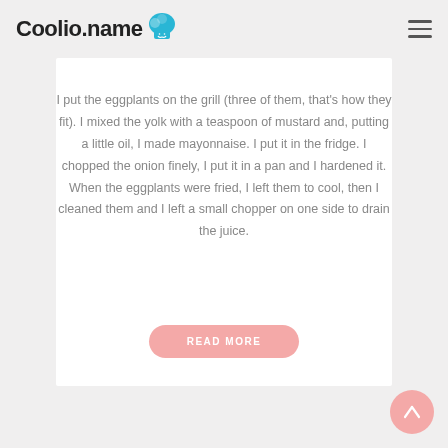Coolio.name
I put the eggplants on the grill (three of them, that's how they fit). I mixed the yolk with a teaspoon of mustard and, putting a little oil, I made mayonnaise. I put it in the fridge. I chopped the onion finely, I put it in a pan and I hardened it. When the eggplants were fried, I left them to cool, then I cleaned them and I left a small chopper on one side to drain the juice.
READ MORE